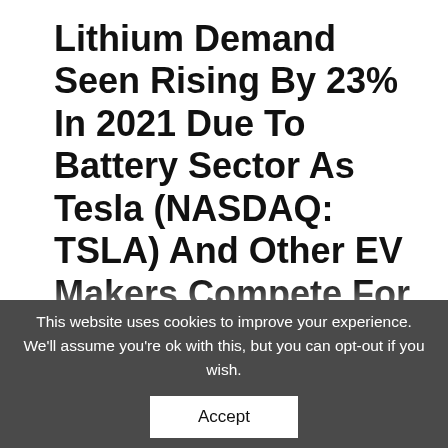Lithium Demand Seen Rising By 23% In 2021 Due To Battery Sector As Tesla (NASDAQ: TSLA) And Other EV Makers Compete For Key Metal In Lithium-Ion Batteries; First Energy Metals Limited (OTC: ASKDF) Enters Option Agreement To Acquire Augustus Lithium
This website uses cookies to improve your experience. We'll assume you're ok with this, but you can opt-out if you wish.